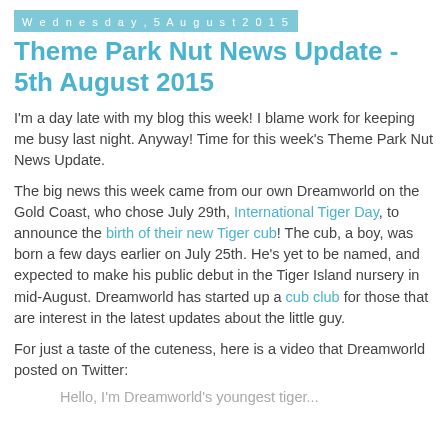Wednesday, 5 August 2015
Theme Park Nut News Update - 5th August 2015
I'm a day late with my blog this week! I blame work for keeping me busy last night. Anyway! Time for this week's Theme Park Nut News Update.
The big news this week came from our own Dreamworld on the Gold Coast, who chose July 29th, International Tiger Day, to announce the birth of their new Tiger cub! The cub, a boy, was born a few days earlier on July 25th. He's yet to be named, and expected to make his public debut in the Tiger Island nursery in mid-August. Dreamworld has started up a cub club for those that are interest in the latest updates about the little guy.
For just a taste of the cuteness, here is a video that Dreamworld posted on Twitter:
Hello, I'm Dreamworld's youngest tiger...